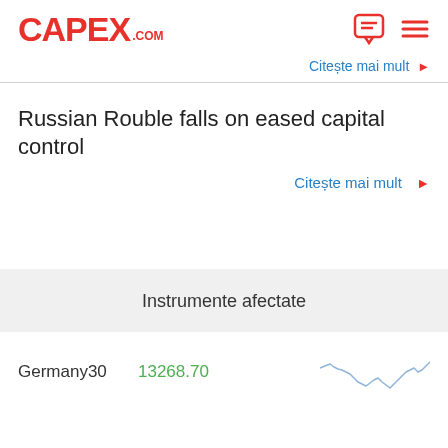CAPEX.com
Citește mai mult ▶
Russian Rouble falls on eased capital control
Citește mai mult ▶
Instrumente afectate
Germany30   13268.70